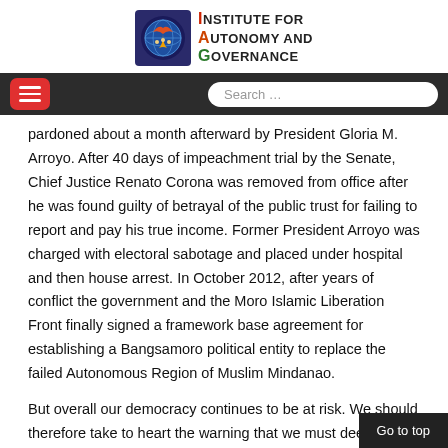[Figure (logo): Institute for Autonomy and Governance logo with circular emblem and text]
Navigation bar with hamburger menu and search box
pardoned about a month afterward by President Gloria M. Arroyo. After 40 days of impeachment trial by the Senate, Chief Justice Renato Corona was removed from office after he was found guilty of betrayal of the public trust for failing to report and pay his true income. Former President Arroyo was charged with electoral sabotage and placed under hospital and then house arrest. In October 2012, after years of conflict the government and the Moro Islamic Liberation Front finally signed a framework base agreement for establishing a Bangsamoro political entity to replace the failed Autonomous Region of Muslim Mindanao.
But overall our democracy continues to be at risk. We should therefore take to heart the warning that we must deepen and strengthen democracy ...